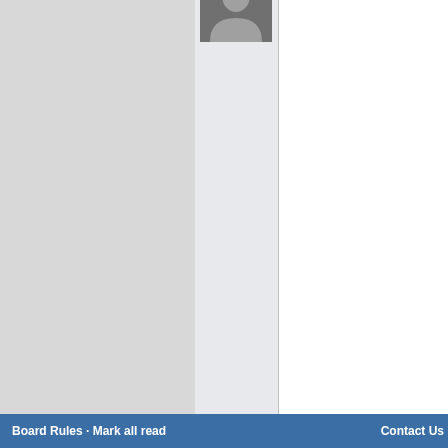[Figure (screenshot): Forum post layout showing user avatar (partially cropped at top) in left column, white content area on right, gray background on sides]
MTRNOVA
10/11/19 06:44 PM
[Figure (illustration): Generic user avatar placeholder - silhouette with question mark on gray background]
Page 1 of 4  1 2 3 4 >
Board Rules · Mark all read    Contact Us